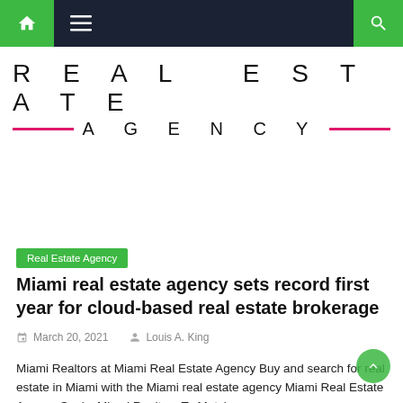REAL ESTATE AGENCY (navigation bar with home, menu, search)
[Figure (logo): Real Estate Agency logo with large spaced letters and pink horizontal lines flanking the word AGENCY]
Real Estate Agency
Miami real estate agency sets record first year for cloud-based real estate brokerage
March 20, 2021   Louis A. King
Miami Realtors at Miami Real Estate Agency Buy and search for real estate in Miami with the Miami real estate agency Miami Real Estate Agency Seeks Miami Realtors To Match